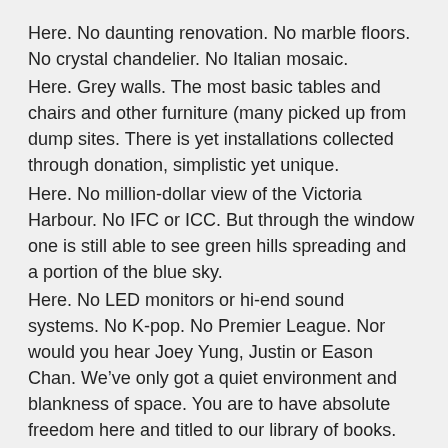Here. No daunting renovation. No marble floors. No crystal chandelier. No Italian mosaic.
Here. Grey walls. The most basic tables and chairs and other furniture (many picked up from dump sites. There is yet installations collected through donation, simplistic yet unique.
Here. No million-dollar view of the Victoria Harbour. No IFC or ICC. But through the window one is still able to see green hills spreading and a portion of the blue sky.
Here. No LED monitors or hi-end sound systems. No K-pop. No Premier League. Nor would you hear Joey Yung, Justin or Eason Chan. We’ve only got a quiet environment and blankness of space. You are to have absolute freedom here and titled to our library of books.
Here. Beverages are available except Pearl Milk Tea, Bluegirl, Macallan or iced coffee with tea and milk. But welcome to herbal fusion, health drinks and our thoughtfully brewed coffee.
Here, visitors are often our neigbours, but probably no i-bankers